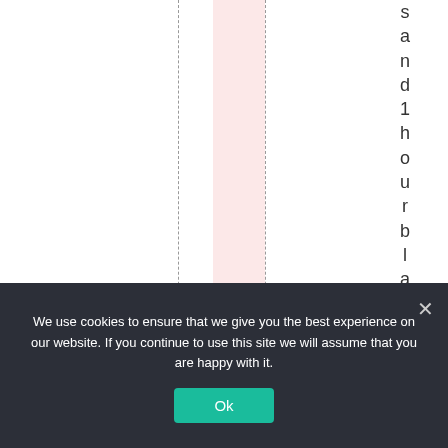[Figure (other): White background with a pink vertical band and two dashed vertical lines, plus vertical text reading 'sand 1 hour blackouts' on the right side.]
We use cookies to ensure that we give you the best experience on our website. If you continue to use this site we will assume that you are happy with it.
Ok